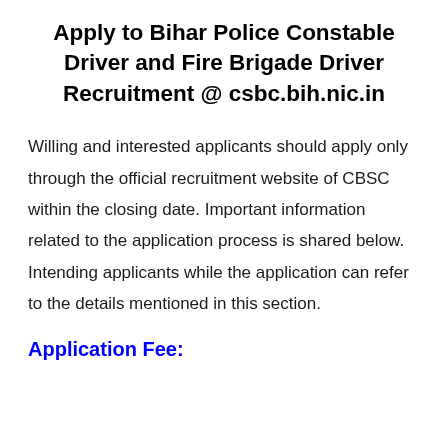Apply to Bihar Police Constable Driver and Fire Brigade Driver Recruitment @ csbc.bih.nic.in
Willing and interested applicants should apply only through the official recruitment website of CBSC within the closing date. Important information related to the application process is shared below. Intending applicants while the application can refer to the details mentioned in this section.
Application Fee: